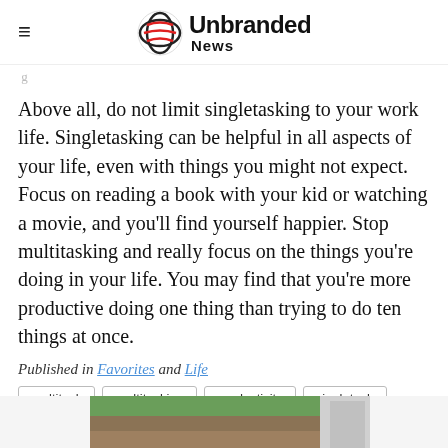Unbranded News
Above all, do not limit singletasking to your work life. Singletasking can be helpful in all aspects of your life, even with things you might not expect. Focus on reading a book with your kid or watching a movie, and you'll find yourself happier. Stop multitasking and really focus on the things you're doing in your life. You may find that you're more productive doing one thing than trying to do ten things at once.
Published in Favorites and Life
multitask
multitasking
productivity
singletask
singletasking
[Figure (photo): Partial bottom image showing outdoor/nature scene]